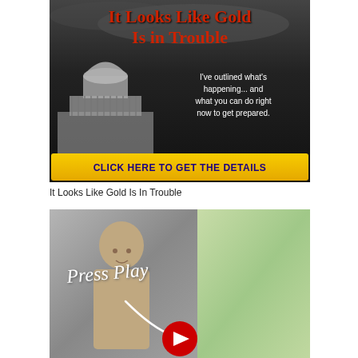[Figure (illustration): Advertisement banner with dark background showing US Capitol building silhouette. Red bold title text 'It Looks Like Gold Is in Trouble'. White body text: 'I've outlined what's happening... and what you can do right now to get prepared.' Yellow button at bottom with blue text 'CLICK HERE TO GET THE DETAILS'.]
It Looks Like Gold Is In Trouble
[Figure (screenshot): Video thumbnail showing a bald man on the left against grey background, outdoor greenery on the right. White cursive text overlay reads 'Press Play' with a curved arrow pointing to a red YouTube-style play button at the bottom center.]